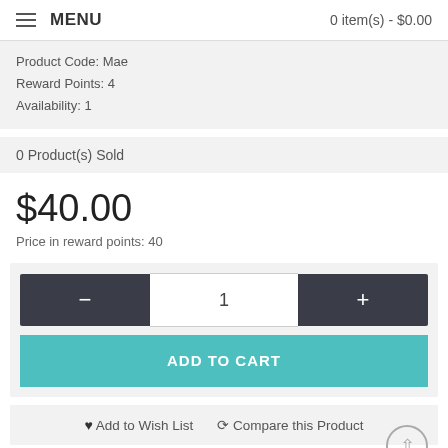MENU  0 item(s) - $0.00
Product Code: Mae
Reward Points: 4
Availability: 1
0 Product(s) Sold
$40.00
Price in reward points: 40
- 1 +
ADD TO CART
♥ Add to Wish List  ⟳ Compare this Product
☆☆☆☆☆ 0 reviews / Write a review